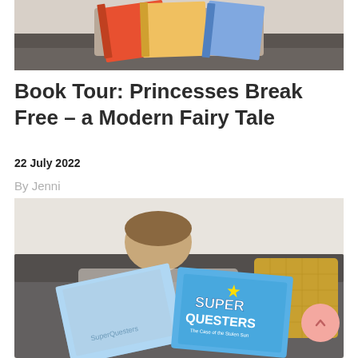[Figure (photo): Child reading books on a grey sofa, seen from behind holding colorful books up]
Book Tour: Princesses Break Free – a Modern Fairy Tale
22 July 2022
By Jenni
[Figure (photo): Young boy sitting on a grey sofa with a yellow cushion, reading a SuperQuesters book]